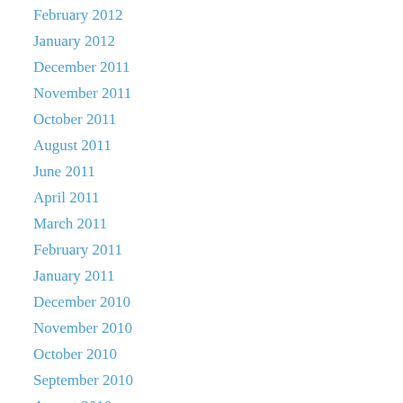February 2012
January 2012
December 2011
November 2011
October 2011
August 2011
June 2011
April 2011
March 2011
February 2011
January 2011
December 2010
November 2010
October 2010
September 2010
August 2010
July 2010
June 2010
May 2010
April 2010